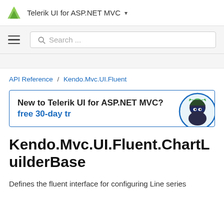Telerik UI for ASP.NET MVC
Search ...
API Reference / Kendo.Mvc.UI.Fluent
New to Telerik UI for ASP.NET MVC? free 30-day t...
Kendo.Mvc.UI.Fluent.ChartLuilderBase
Defines the fluent interface for configuring Line series